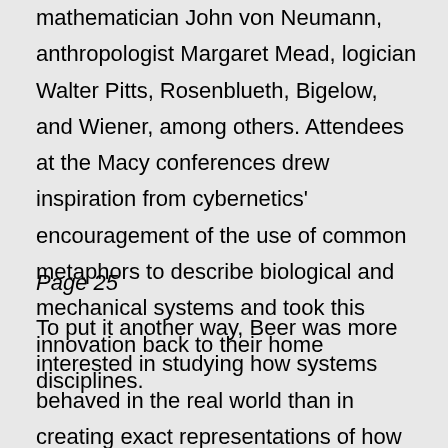mathematician John von Neumann, anthropologist Margaret Mead, logician Walter Pitts, Rosenblueth, Bigelow, and Wiener, among others. Attendees at the Macy conferences drew inspiration from cybernetics' encouragement of the use of common metaphors to describe biological and mechanical systems and took this innovation back to their home disciplines.
Page 25
To put it another way, Beer was more interested in studying how systems behaved in the real world than in creating exact representations of how they functioned. Furthermore, he was centrally concerned with developing mechanisms to help these systems self-regulate and survive. He stressed that cybernetics and operations